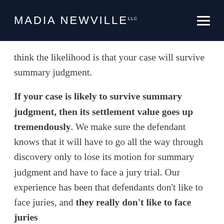MADIA NEWVILLE LLC
think the likelihood is that your case will survive summary judgment.
If your case is likely to survive summary judgment, then its settlement value goes up tremendously. We make sure the defendant knows that it will have to go all the way through discovery only to lose its motion for summary judgment and have to face a jury trial. Our experience has been that defendants don’t like to face juries, and they really don’t like to face juries